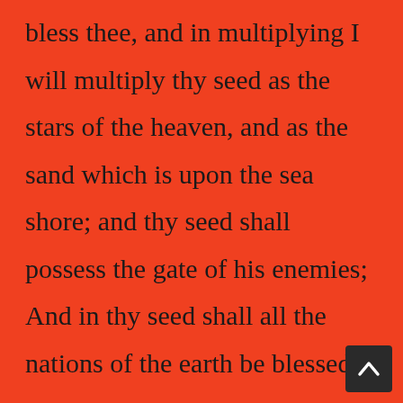bless thee, and in multiplying I will multiply thy seed as the stars of the heaven, and as the sand which is upon the sea shore; and thy seed shall possess the gate of his enemies; And in thy seed shall all the nations of the earth be blessed;